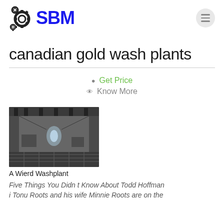SBM logo and menu button
canadian gold wash plants
Get Price
Know More
[Figure (photo): Black and white industrial washplant interior with pipes and machinery]
A Wierd Washplant
Five Things You Didn t Know About Todd Hoffman i Tonu Roots and his wife Minnie Roots are on the